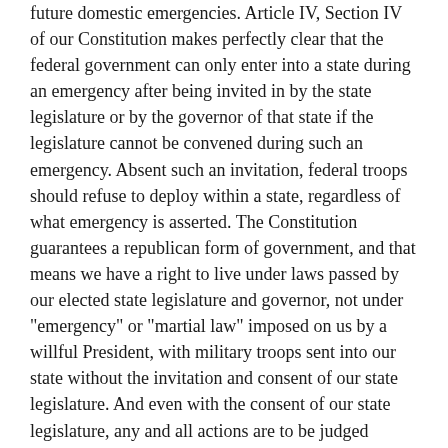future domestic emergencies. Article IV, Section IV of our Constitution makes perfectly clear that the federal government can only enter into a state during an emergency after being invited in by the state legislature or by the governor of that state if the legislature cannot be convened during such an emergency. Absent such an invitation, federal troops should refuse to deploy within a state, regardless of what emergency is asserted. The Constitution guarantees a republican form of government, and that means we have a right to live under laws passed by our elected state legislature and governor, not under "emergency" or "martial law" imposed on us by a willful President, with military troops sent into our state without the invitation and consent of our state legislature. And even with the consent of our state legislature, any and all actions are to be judged according to their compliance with the Constitution.
Daily Bell: You will NOT obey orders to invade and subjugate any state that asserts its sovereignty. Is this an issue within law enforcement currently?